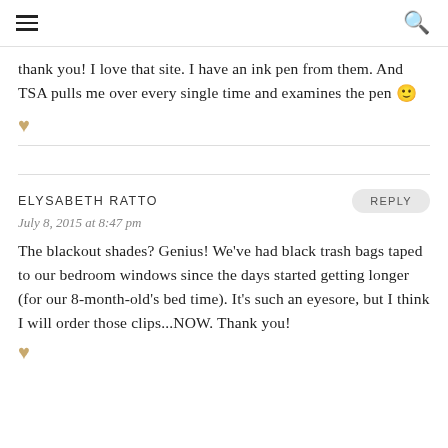≡  🔍
thank you! I love that site. I have an ink pen from them. And TSA pulls me over every single time and examines the pen 🙂
ELYSABETH RATTO
July 8, 2015 at 8:47 pm
The blackout shades? Genius! We've had black trash bags taped to our bedroom windows since the days started getting longer (for our 8-month-old's bed time). It's such an eyesore, but I think I will order those clips...NOW. Thank you!